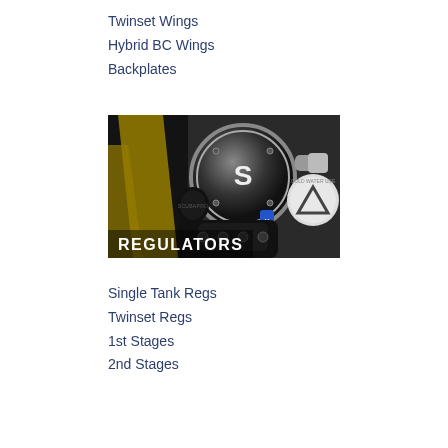Twinset Wings
Hybrid BC Wings
Backplates
[Figure (photo): Close-up photo of scuba diving regulators including a Scubapro regulator and other brands, with the text 'REGULATORS' overlaid in white on the lower left portion of the image.]
Single Tank Regs
Twinset Regs
1st Stages
2nd Stages